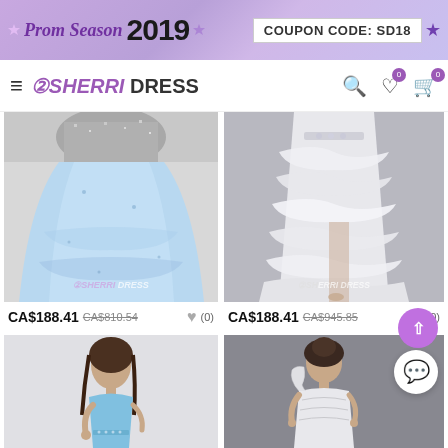[Figure (screenshot): Prom Season 2019 promotional banner with purple gradient background, coupon code SD18, and star decorations]
SHERRI DRESS
[Figure (photo): Light blue sparkly tulle prom dress, cropped to show skirt with sequin bodice top and SHERRI DRESS watermark]
CA$188.41 CA$810.54 (0)
[Figure (photo): White ruffled high-low prom dress with crystal waist detail and SHERRI DRESS watermark]
CA$188.41 CA$945.85 (0)
[Figure (photo): Light blue halter neck prom dress on brunette model]
[Figure (photo): White one-shoulder prom dress on model with dark updo hair]